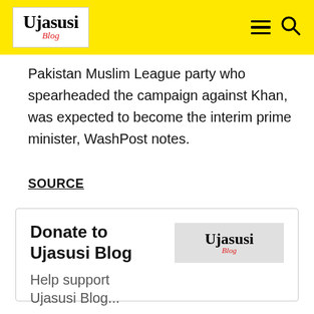Ujasusi Blog
Pakistan Muslim League party who spearheaded the campaign against Khan, was expected to become the interim prime minister, WashPost notes.
SOURCE
Donate to Ujasusi Blog
Help support
[Figure (logo): Ujasusi Blog logo in a grey box]
[Figure (logo): PayPal P logo icon in blue]